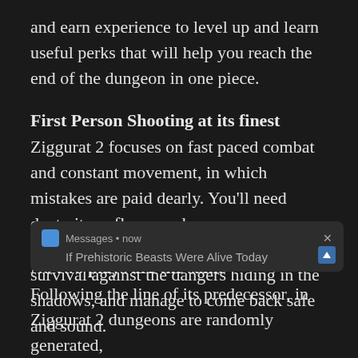and earn experience to level up and learn useful perks that will help you reach the end of the dungeon in one piece.
First Person Shooting at its finest
Ziggurat 2 focuses on fast paced combat and constant movement, in which mistakes are paid dearly. You'll need dexterity, reflexes and resource management skills to have a chance of survival against the dangers hiding in the shadows, and manage to come back safe and sound.
[Figure (screenshot): Notification overlay showing Messages app notification with text 'If Prehistoric Beasts Were Alive Today' and a close button (×) and scroll-up arrow button]
No two plays are the same
Following the line of its predecessor, in Ziggurat 2 dungeons are randomly generated,